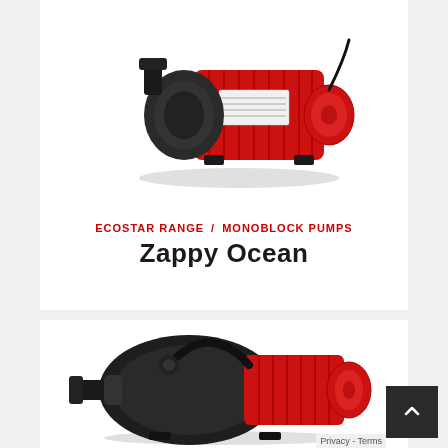[Figure (photo): Red and black monoblock water pump (Zappy Ocean) photographed from the side, showing motor and pump housing]
ECOSTAR RANGE /  MONOBLOCK PUMPS
Zappy Ocean
[Figure (photo): Black and red monoblock water pump photographed from the side, showing pump body with curved handle and red motor section]